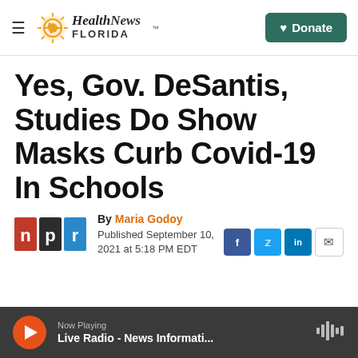Health News Florida — Donate
Yes, Gov. DeSantis, Studies Do Show Masks Curb Covid-19 In Schools
By Maria Godoy
Published September 10, 2021 at 5:18 PM EDT
[Figure (logo): NPR logo — red n, gray p, blue r on black backgrounds]
Now Playing
Live Radio - News Informati...